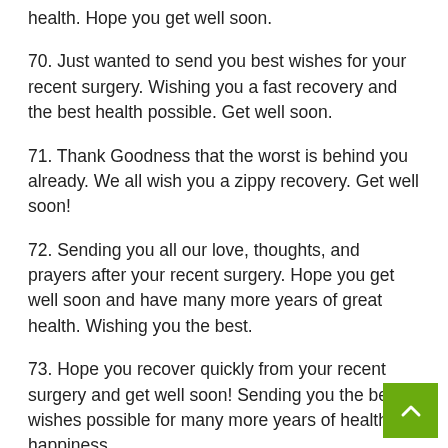health. Hope you get well soon.
70. Just wanted to send you best wishes for your recent surgery. Wishing you a fast recovery and the best health possible. Get well soon.
71. Thank Goodness that the worst is behind you already. We all wish you a zippy recovery. Get well soon!
72. Sending you all our love, thoughts, and prayers after your recent surgery. Hope you get well soon and have many more years of great health. Wishing you the best.
73. Hope you recover quickly from your recent surgery and get well soon! Sending you the best wishes possible for many more years of health happiness.